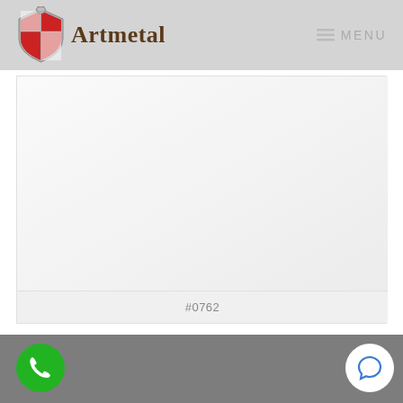[Figure (logo): Artmetal logo with shield/knight emblem and serif text]
≡ MENU
[Figure (photo): Large white/light gray content area, appears blank or showing a product image]
#0762
[Figure (screenshot): Gray footer bar with green phone call button on left and white chat bubble button on right]